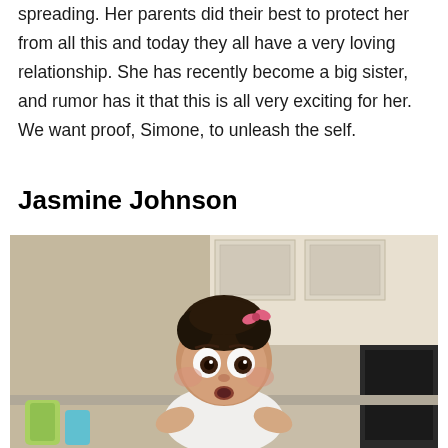spreading. Her parents did their best to protect her from all this and today they all have a very loving relationship. She has recently become a big sister, and rumor has it that this is all very exciting for her. We want proof, Simone, to unleash the self.
Jasmine Johnson
[Figure (photo): Photo of a baby girl with curly dark hair and a pink bow, wearing a white outfit, sitting at a kitchen counter and looking at the camera with wide eyes and a surprised expression. Kitchen shelves and appliances visible in the background.]